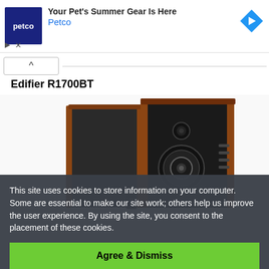[Figure (screenshot): Petco advertisement banner with blue logo, text 'Your Pet's Summer Gear Is Here', 'Petco' label in blue, and a blue diamond-shaped arrow icon on the right]
Edifier R1700BT
[Figure (photo): Product photo of Edifier R1700BT bookshelf speakers — two dark wood-paneled speakers with black fronts, one showing woofer and tweeter, a small remote control visible at the bottom]
This site uses cookies to store information on your computer. Some are essential to make our site work; others help us improve the user experience. By using the site, you consent to the placement of these cookies.
Agree & Dismiss